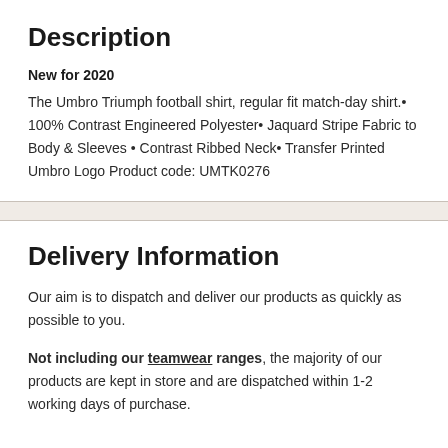Description
New for 2020
The Umbro Triumph football shirt, regular fit match-day shirt.• 100% Contrast Engineered Polyester• Jaquard Stripe Fabric to Body & Sleeves • Contrast Ribbed Neck• Transfer Printed Umbro Logo Product code: UMTK0276
Delivery Information
Our aim is to dispatch and deliver our products as quickly as possible to you.
Not including our teamwear ranges, the majority of our products are kept in store and are dispatched within 1-2 working days of purchase.